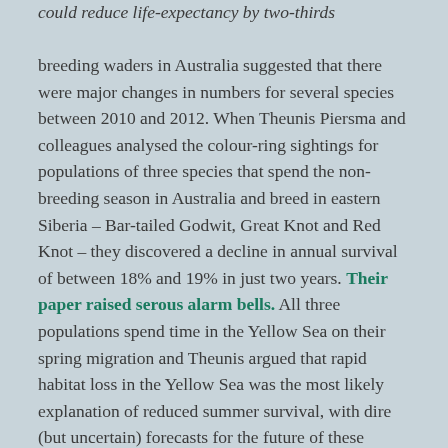could reduce life-expectancy by two-thirds
breeding waders in Australia suggested that there were major changes in numbers for several species between 2010 and 2012. When Theunis Piersma and colleagues analysed the colour-ring sightings for populations of three species that spend the non-breeding season in Australia and breed in eastern Siberia – Bar-tailed Godwit, Great Knot and Red Knot – they discovered a decline in annual survival of between 18% and 19% in just two years. Their paper raised serous alarm bells. All three populations spend time in the Yellow Sea on their spring migration and Theunis argued that rapid habitat loss in the Yellow Sea was the most likely explanation of reduced summer survival, with dire (but uncertain) forecasts for the future of these flyway populations.